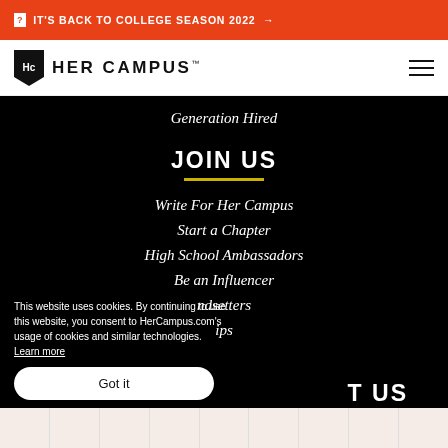IT'S BACK TO COLLEGE SEASON 2022 →
[Figure (logo): Her Campus logo with Hc shield icon and text 'HER CAMPUS']
Generation Hired
JOIN US
Write For Her Campus
Start a Chapter
High School Ambassadors
Be an Influencer
...ndsetters
...ips
This website uses cookies. By continuing to use this website, you consent to HerCampus.com's usage of cookies and similar technologies. Learn more
Got it
T US